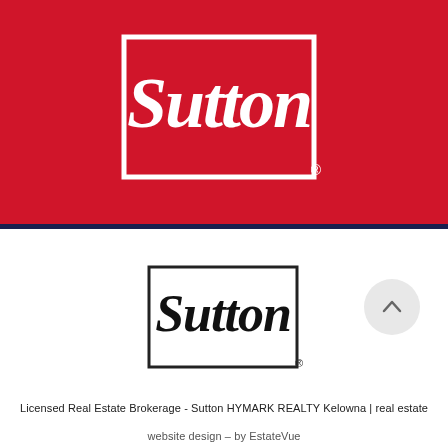[Figure (logo): Sutton real estate brand logo on red background: white script 'Sutton' text inside a white square border outline, with registered trademark symbol, on a crimson/red background.]
[Figure (logo): Sutton real estate brand logo in black on white background: black script 'Sutton' text inside a black square border outline, with registered trademark symbol.]
Licensed Real Estate Brokerage - Sutton HYMARK REALTY Kelowna | real estate
website design – by EstateVue